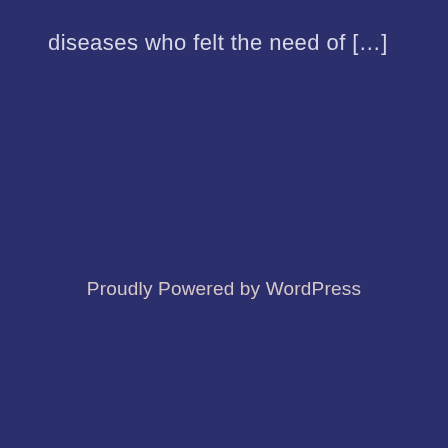diseases who felt the need of […]
Proudly Powered by WordPress